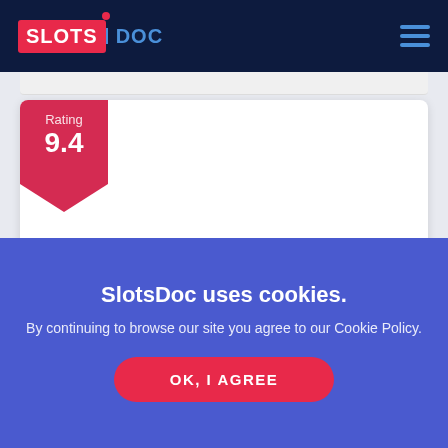SlotsDoc — navigation bar with logo and hamburger menu
[Figure (logo): SlotsDoc logo: red box with white bold text SLOTS, blue italic DOC text with red dot above a stick, on dark navy background]
Rating 9.4
Casino Midas
SlotsDoc uses cookies.
By continuing to browse our site you agree to our Cookie Policy.
OK, I AGREE